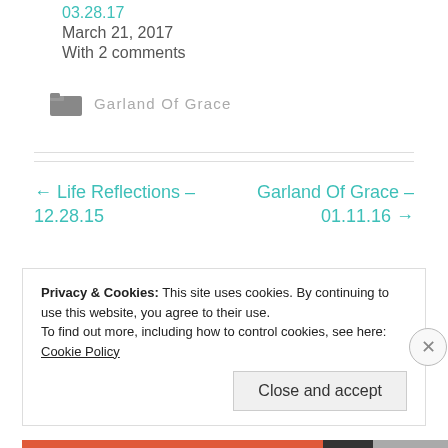03.28.17
March 21, 2017
With 2 comments
Garland Of Grace
← Life Reflections – 12.28.15
Garland Of Grace – 01.11.16 →
Privacy & Cookies: This site uses cookies. By continuing to use this website, you agree to their use.
To find out more, including how to control cookies, see here: Cookie Policy
Close and accept